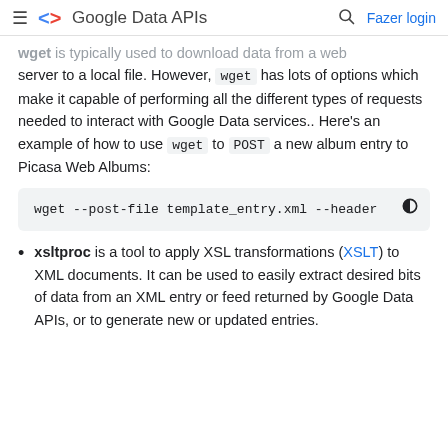≡ <> Google Data APIs 🔍 Fazer login
wget is typically used to download data from a web server to a local file. However, wget has lots of options which make it capable of performing all the different types of requests needed to interact with Google Data services.. Here's an example of how to use wget to POST a new album entry to Picasa Web Albums:
[Figure (screenshot): Code block showing: wget --post-file template_entry.xml --header]
xsltproc is a tool to apply XSL transformations (XSLT) to XML documents. It can be used to easily extract desired bits of data from an XML entry or feed returned by Google Data APIs, or to generate new or updated entries.